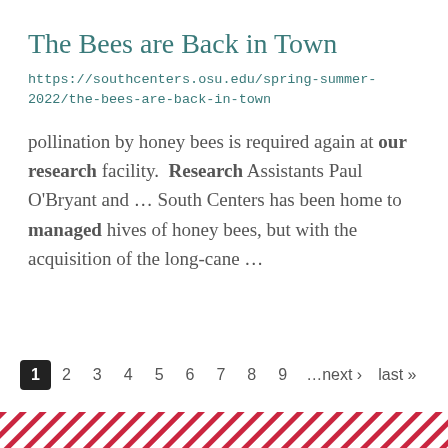The Bees are Back in Town
https://southcenters.osu.edu/spring-summer-2022/the-bees-are-back-in-town
pollination by honey bees is required again at our research facility.  Research Assistants Paul O’Bryant and ... South Centers has been home to managed hives of honey bees, but with the acquisition of the long-cane ...
1  2  3  4  5  6  7  8  9  ···next ›  last »